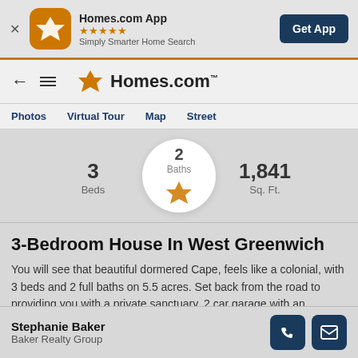[Figure (screenshot): Homes.com app banner with orange icon, 5 star rating, 'Simply Smarter Home Search' tagline, and 'Get App' button]
Homes.com App ★★★★★ Simply Smarter Home Search
Photos  Virtual Tour  Map  Street
3 Beds  |  2 Baths  |  1,841 Sq. Ft.
3-Bedroom House In West Greenwich
You will see that beautiful dormered Cape, feels like a colonial, with 3 beds and 2 full baths on 5.5 acres. Set back from the road to providing you with a private sanctuary, 2 car garage with an additional semi-finished
Stephanie Baker
Baker Realty Group